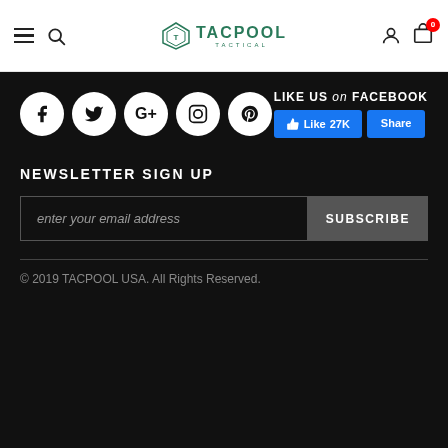[Figure (screenshot): Website navigation bar with hamburger menu, search icon, TACPOOL TACTICAL logo, user icon, and cart icon with badge 0]
[Figure (other): Social media icons row: Facebook, Twitter, Google+, Instagram, Pinterest circles. LIKE US on FACEBOOK with Like 27K and Share buttons.]
NEWSLETTER SIGN UP
enter your email address | SUBSCRIBE
© 2019 TACPOOL USA. All Rights Reserved.